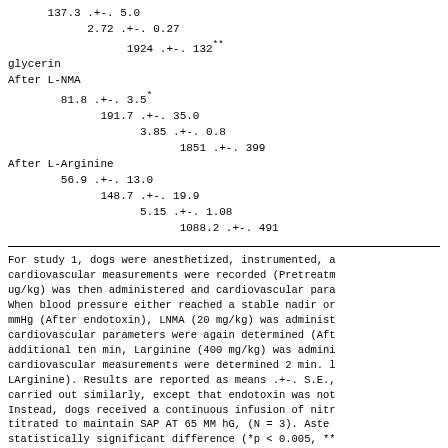137.3 .+-. 5.0
    2.72 .+-. 0.27
        1924 .+-. 132**
glycerin
After L-NMA
    81.8 .+-. 3.5*
        191.7 .+-. 35.0
            3.85 .+-. 0.8
                1851 .+-. 399
After L-Arginine
    56.9 .+-. 13.0
        148.7 .+-. 19.9
            5.15 .+-. 1.08
                1088.2 .+-. 491
For study 1, dogs were anesthetized, instrumented, a cardiovascular measurements were recorded (Pretreatm ug/kg) was then administered and cardiovascular para When blood pressure either reached a stable nadir or mmHg (After endotoxin), LNMA (20 mg/kg) was administ cardiovascular parameters were again determined (Aft additional ten min, Larginine (400 mg/kg) was admini cardiovascular measurements were determined 2 min. l LArginine). Results are reported as means .+-. S.E., carried out similarly, except that endotoxin was not Instead, dogs received a continuous infusion of nitr titrated to maintain SAP AT 65 MM hG, (N = 3). Aste statistically significant difference (*p < 0.005, ** immediately proceeding condition.